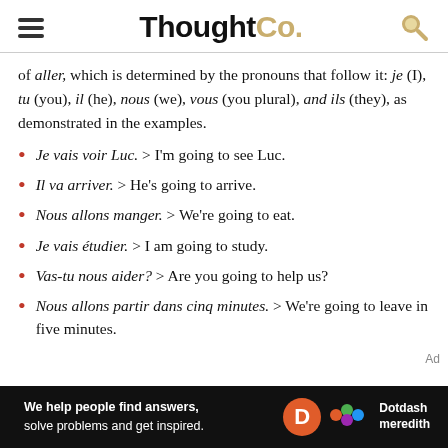ThoughtCo.
of aller, which is determined by the pronouns that follow it: je (I), tu (you), il (he), nous (we), vous (you plural), and ils (they), as demonstrated in the examples.
Je vais voir Luc. > I'm going to see Luc.
Il va arriver. > He's going to arrive.
Nous allons manger. > We're going to eat.
Je vais étudier. > I am going to study.
Vas-tu nous aider? > Are you going to help us?
Nous allons partir dans cinq minutes. > We're going to leave in five minutes.
[Figure (logo): Dotdash Meredith advertisement banner with text: We help people find answers, solve problems and get inspired.]